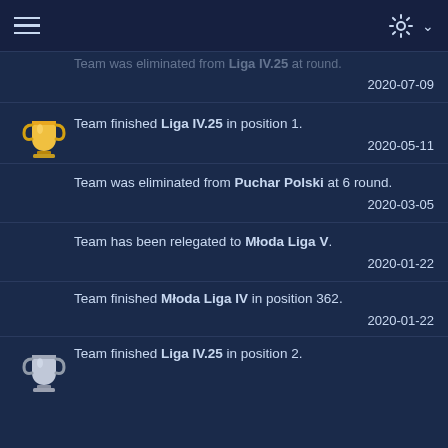Navigation and settings header
Team was eliminated from [competition] at [N] round.
2020-07-09
Team finished Liga IV.25 in position 1.
2020-05-11
Team was eliminated from Puchar Polski at 6 round.
2020-03-05
Team has been relegated to Młoda Liga V.
2020-01-22
Team finished Młoda Liga IV in position 362.
2020-01-22
Team finished Liga IV.25 in position 2.